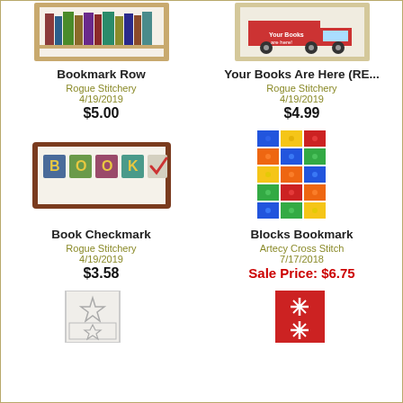[Figure (photo): Partial photo of Bookmark Row cross stitch pattern showing books on a shelf]
[Figure (photo): Partial photo of Your Books Are Here cross stitch pattern with a truck]
Bookmark Row
Rogue Stitchery
4/19/2019
$5.00
Your Books Are Here (RE...
Rogue Stitchery
4/19/2019
$4.99
[Figure (photo): Photo of Book Checkmark cross stitch pattern showing BOOK letters with a checkmark]
[Figure (photo): Photo of Blocks Bookmark cross stitch pattern showing colorful lego-style blocks]
Book Checkmark
Rogue Stitchery
4/19/2019
$3.58
Blocks Bookmark
Artecy Cross Stitch
7/17/2018
Sale Price: $6.75
[Figure (photo): Partial photo of a white/gray quilt-style bookmark cross stitch pattern]
[Figure (photo): Partial photo of a red bookmark cross stitch pattern with white snowflakes]